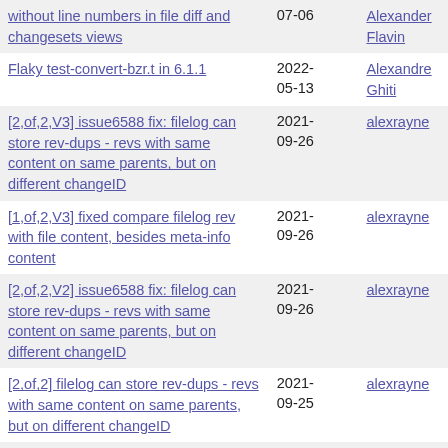| Title | Date | Author |
| --- | --- | --- |
| without line numbers in file diff and changesets views | 07-06 | Alexander Flavin |
| Flaky test-convert-bzr.t in 6.1.1 | 2022-05-13 | Alexandre Ghiti |
| [2,of,2,V3] issue6588 fix: filelog can store rev-dups - revs with same content on same parents, but on different changeID | 2021-09-26 | alexrayne |
| [1,of,2,V3] fixed compare filelog rev with file content, besides meta-info content | 2021-09-26 | alexrayne |
| [2,of,2,V2] issue6588 fix: filelog can store rev-dups - revs with same content on same parents, but on different changeID | 2021-09-26 | alexrayne |
| [2,of,2] filelog can store rev-dups - revs with same content on same parents, but on different changeID | 2021-09-25 | alexrayne |
| [1,of,1] fix sparse:subprepo.subrepo - now provide DummySubrepo for subs out of sparse | 2021-05-13 | alexrayne |
| Bug 3749 --help does not show non-command help topics | 2013-04-17 | Ankur Ankan |
| [2,of,2,V2] stack: add indexedrevs property to contain a list of stack revs and its base | 2019-09-25 | Anton Shestakov |
| [1,of,2,V2] stack: take getstack() and turn it into stack class (API) | 2019-09-25 | Anton Shestakov |